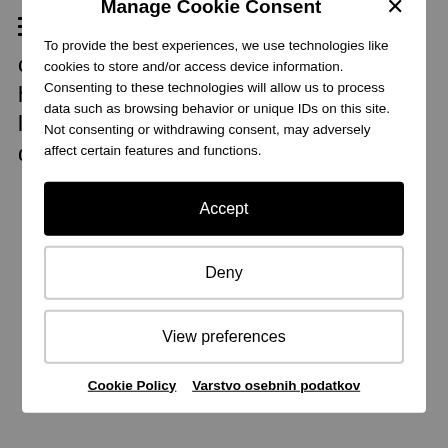Menu
changed her hair for life. Now I can finally have lovely and long lasting curls without damaging
Manage Cookie Consent
To provide the best experiences, we use technologies like cookies to store and/or access device information. Consenting to these technologies will allow us to process data such as browsing behavior or unique IDs on this site. Not consenting or withdrawing consent, may adversely affect certain features and functions.
Accept
Deny
View preferences
Cookie Policy   Varstvo osebnih podatkov